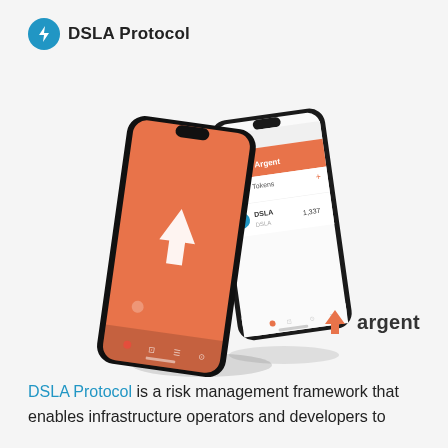[Figure (logo): DSLA Protocol logo: blue circle with white lightning bolt, followed by bold text 'DSLA Protocol']
[Figure (illustration): Two smartphones floating at angles. Left phone has an orange screen with a white upward arrow logo (Argent app). Right phone shows a white screen with the Argent app interface listing 'Tokens' and 'DSLA' with value '1,337'. Both phones have dark bezels.]
[Figure (logo): Argent logo: orange upward arrow/chevron icon followed by bold text 'argent']
DSLA Protocol is a risk management framework that enables infrastructure operators and developers to